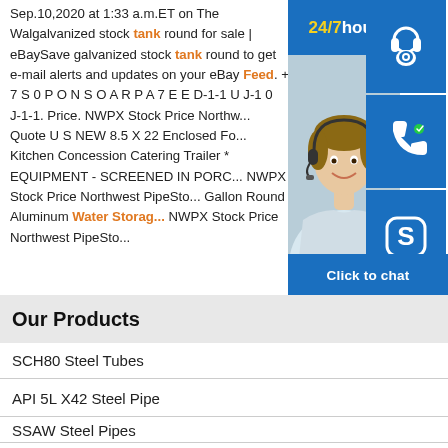Sep.10,2020 at 1:33 a.m.ET on The Walgalvanized stock tank round for sale | eBaySave galvanized stock tank round to get e-mail alerts and updates on your eBay Feed. + 7 S 0 P O N S O A R P A 7 E E D-1-1 U J-1 0 J-1-1. Price. NWPX Stock Price Northwest PipeSto... Quote U S NEW 8.5 X 22 Enclosed Fo... Kitchen Concession Catering Trailer * EQUIPMENT - SCREENED IN PORC... NWPX Stock Price Northwest PipeSto... Gallon Round Aluminum Water Storage... NWPX Stock Price Northwest PipeSto...
[Figure (infographic): 24/7 hour customer support chat widget with photo of smiling customer service agent, headset icon, phone icon, Skype icon, and Click to chat button]
Our Products
SCH80 Steel Tubes
API 5L X42 Steel Pipe
SSAW Steel Pipes
A53 Steel Pipes